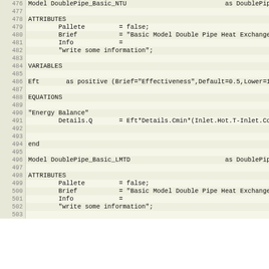Code listing lines 476-503: Modelica/EMSO model definitions for DoublePipe_Basic_NTU and DoublePipe_Basic_LMTD heat exchanger models with ATTRIBUTES, VARIABLES, and EQUATIONS sections.